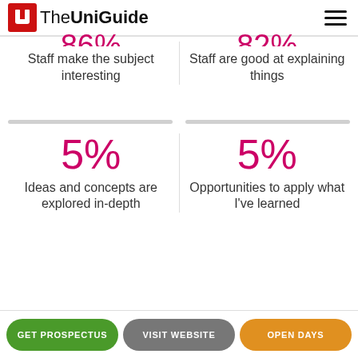TheUniGuide
Staff make the subject interesting
Staff are good at explaining things
5%
Ideas and concepts are explored in-depth
5%
Opportunities to apply what I've learned
GET PROSPECTUS  VISIT WEBSITE  OPEN DAYS